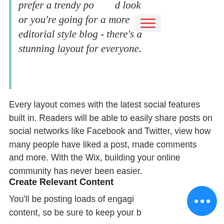prefer a trendy polished look or you're going for a more editorial style blog - there's a stunning layout for everyone.
Every layout comes with the latest social features built in. Readers will be able to easily share posts on social networks like Facebook and Twitter, view how many people have liked a post, made comments and more. With the Wix, building your online community has never been easier.
Create Relevant Content
You'll be posting loads of engaging content, so be sure to keep your blog organized with Categories that b...